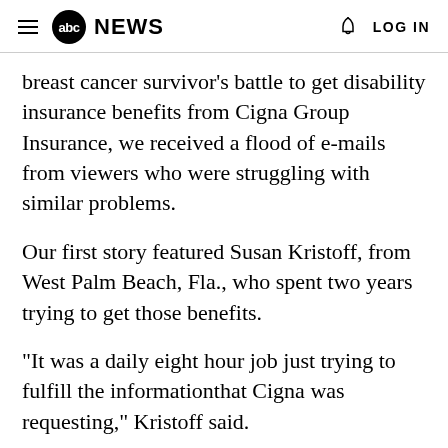abc NEWS  LOG IN
breast cancer survivor's battle to get disability insurance benefits from Cigna Group Insurance, we received a flood of e-mails from viewers who were struggling with similar problems.
Our first story featured Susan Kristoff, from West Palm Beach, Fla., who spent two years trying to get those benefits.
"It was a daily eight hour job just trying to fulfill the informationthat Cigna was requesting," Kristoff said.
During our investigation into Susan's case